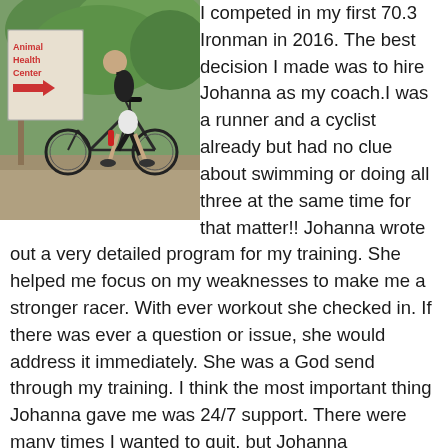[Figure (photo): A person riding a road bicycle on a road, wearing athletic gear. In the background there is a sign reading 'Animal Health Center' with an arrow. Green foliage visible in background.]
I competed in my first 70.3 Ironman in 2016. The best decision I made was to hire Johanna as my coach.I was a runner and a cyclist already but had no clue about swimming or doing all three at the same time for that matter!! Johanna wrote out a very detailed program for my training. She helped me focus on my weaknesses to make me a stronger racer. With ever workout she checked in. If there was ever a question or issue, she would address it immediately. She was a God send through my training. I think the most important thing Johanna gave me was 24/7 support. There were many times I wanted to quit, but Johanna encouraged me and got me excited